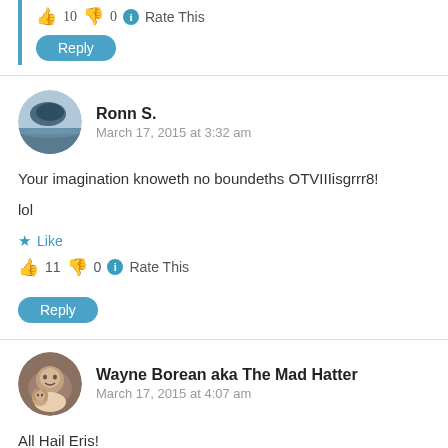👍 10 👎 0 ℹ Rate This
Reply
Ronn S.
March 17, 2015 at 3:32 am
Your imagination knoweth no boundeths OTVIIIisgrrr8!
lol
★ Like
👍 11 👎 0 ℹ Rate This
Reply
Wayne Borean aka The Mad Hatter
March 17, 2015 at 4:07 am
All Hail Eris!